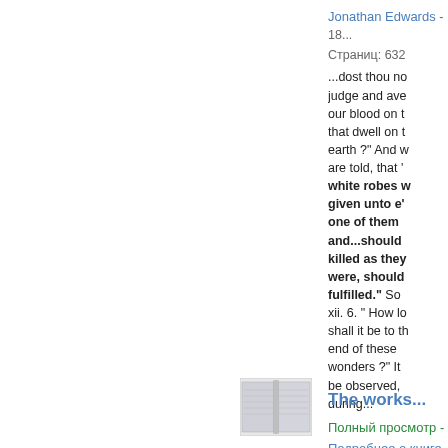Jonathan Edwards - 18...
Страниц: 632
...dost thou no judge and ave our blood on t that dwell on t earth ?" And w are told, that white robes w given unto e' one of them and...should killed as they were, should fulfilled." So xii. 6. " How lo shall it be to th end of these wonders ?" It be observed, during...
Полный просмотр -
Подробнее о книге
The works...
[Figure (illustration): Small book thumbnail image]